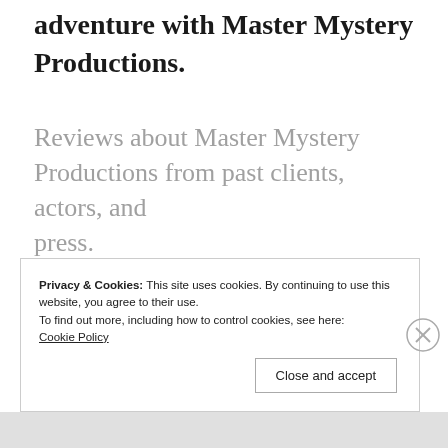adventure with Master Mystery Productions.
Reviews about Master Mystery Productions from past clients, actors, and press.
Visit Master Mystery Productions on Facebook to learn more about the show.
Privacy & Cookies: This site uses cookies. By continuing to use this website, you agree to their use.
To find out more, including how to control cookies, see here:
Cookie Policy
Close and accept